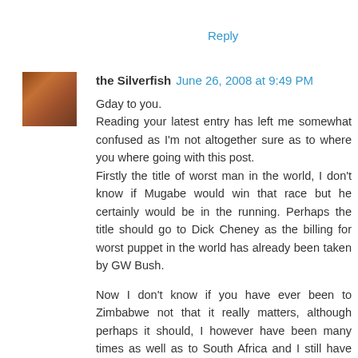Reply
the Silverfish  June 26, 2008 at 9:49 PM
Gday to you.
Reading your latest entry has left me somewhat confused as I'm not altogether sure as to where you where going with this post.
Firstly the title of worst man in the world, I don't know if Mugabe would win that race but he certainly would be in the running. Perhaps the title should go to Dick Cheney as the billing for worst puppet in the world has already been taken by GW Bush.

Now I don't know if you have ever been to Zimbabwe not that it really matters, although perhaps it should, I however have been many times as well as to South Africa and I still have many friends in both countries so what I have to say is said from the point of view of people that have their feet on the ground so to speak. The state of affairs in Zim in the 28 going on 29 years of Robert Mugabes rule go beyond the pale of disaster. This Son of a Bitch has utterly...